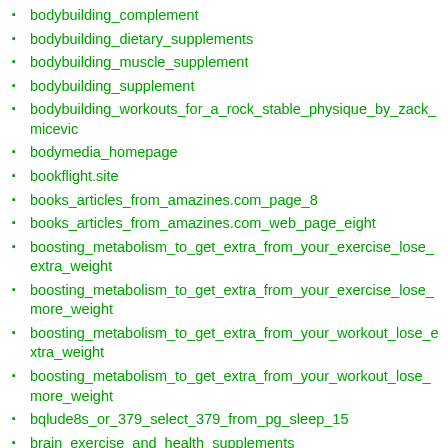bodybuilding_complement
bodybuilding_dietary_supplements
bodybuilding_muscle_supplement
bodybuilding_supplement
bodybuilding_workouts_for_a_rock_stable_physique_by_zack_micevic
bodymedia_homepage
bookflight.site
books_articles_from_amazines.com_page_8
books_articles_from_amazines.com_web_page_eight
boosting_metabolism_to_get_extra_from_your_exercise_lose_extra_weight
boosting_metabolism_to_get_extra_from_your_exercise_lose_more_weight
boosting_metabolism_to_get_extra_from_your_workout_lose_extra_weight
boosting_metabolism_to_get_extra_from_your_workout_lose_more_weight
bqlude8s_or_379_select_379_from_pg_sleep_15
brain_exercise_and_health_supplements